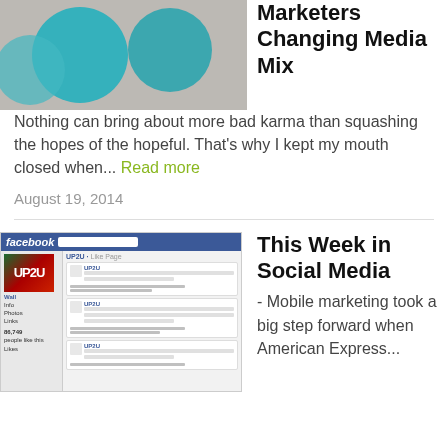[Figure (photo): Photo showing teal/green circular objects on a surface, partially visible at top]
Marketers Changing Media Mix
Nothing can bring about more bad karma than squashing the hopes of the hopeful. That's why I kept my mouth closed when... Read more
August 19, 2014
[Figure (screenshot): Screenshot of a Facebook page for UP2U showing posts and interactions]
This Week in Social Media
- Mobile marketing took a big step forward when American Express...